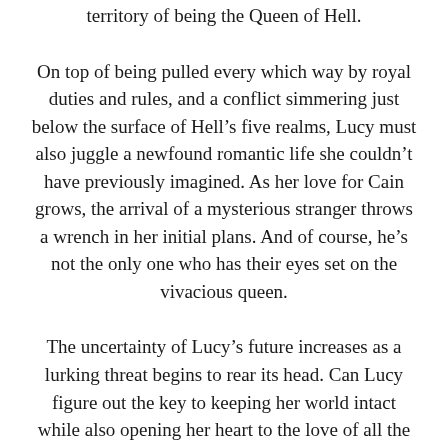territory of being the Queen of Hell.
On top of being pulled every which way by royal duties and rules, and a conflict simmering just below the surface of Hell’s five realms, Lucy must also juggle a newfound romantic life she couldn’t have previously imagined. As her love for Cain grows, the arrival of a mysterious stranger throws a wrench in her initial plans. And of course, he’s not the only one who has their eyes set on the vivacious queen.
The uncertainty of Lucy’s future increases as a lurking threat begins to rear its head. Can Lucy figure out the key to keeping her world intact while also opening her heart to the love of all the men in her life before it’s too late?